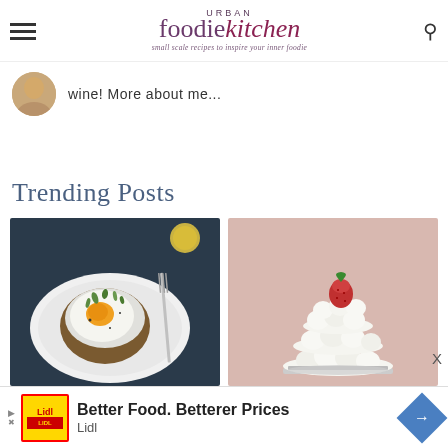URBAN foodie kitchen — small scale recipes to inspire your inner foodie
wine! More about me...
Trending Posts
[Figure (photo): Overhead photo of fried egg on toast with microgreens and herbs on a white plate with a fork, on a dark surface with a lemon]
[Figure (photo): Strawberry cream pavlova or meringue cake topped with fresh strawberry on a pink background]
[Figure (infographic): Lidl advertisement banner: Better Food. Betterer Prices — Lidl]